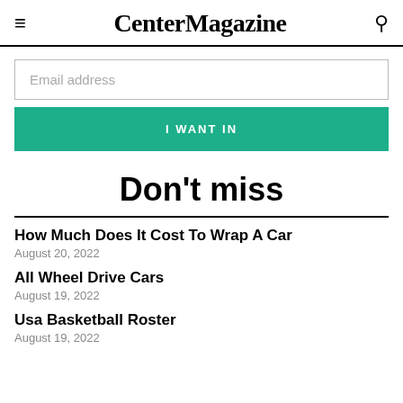CenterMagazine
Email address
I WANT IN
Don't miss
How Much Does It Cost To Wrap A Car
August 20, 2022
All Wheel Drive Cars
August 19, 2022
Usa Basketball Roster
August 19, 2022